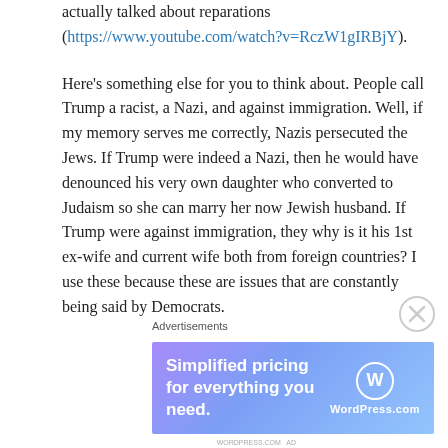actually talked about reparations (https://www.youtube.com/watch?v=RczW1gIRBjY).
Here's something else for you to think about. People call Trump a racist, a Nazi, and against immigration. Well, if my memory serves me correctly, Nazis persecuted the Jews. If Trump were indeed a Nazi, then he would have denounced his very own daughter who converted to Judaism so she can marry her now Jewish husband. If Trump were against immigration, they why is it his 1st ex-wife and current wife both from foreign countries? I use these because these are issues that are constantly being said by Democrats.
Advertisements
[Figure (illustration): WordPress.com advertisement banner: 'Simplified pricing for everything you need.' with WordPress logo on a purple-blue gradient background.]